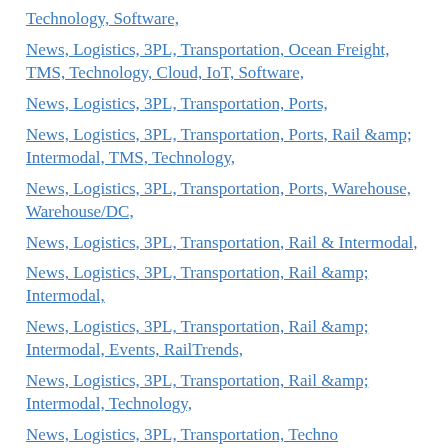Technology, Software,
News, Logistics, 3PL, Transportation, Ocean Freight, TMS, Technology, Cloud, IoT, Software,
News, Logistics, 3PL, Transportation, Ports,
News, Logistics, 3PL, Transportation, Ports, Rail &amp; Intermodal, TMS, Technology,
News, Logistics, 3PL, Transportation, Ports, Warehouse, Warehouse/DC,
News, Logistics, 3PL, Transportation, Rail & Intermodal,
News, Logistics, 3PL, Transportation, Rail &amp; Intermodal,
News, Logistics, 3PL, Transportation, Rail &amp; Intermodal, Events, RailTrends,
News, Logistics, 3PL, Transportation, Rail &amp; Intermodal, Technology,
News, Logistics, 3PL, Transportation, Technology,